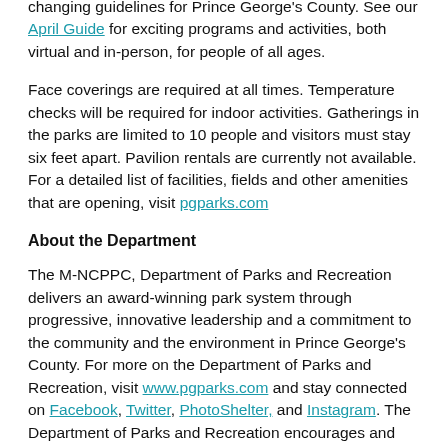changing guidelines for Prince George's County. See our April Guide for exciting programs and activities, both virtual and in-person, for people of all ages.
Face coverings are required at all times. Temperature checks will be required for indoor activities. Gatherings in the parks are limited to 10 people and visitors must stay six feet apart. Pavilion rentals are currently not available. For a detailed list of facilities, fields and other amenities that are opening, visit pgparks.com
About the Department
The M-NCPPC, Department of Parks and Recreation delivers an award-winning park system through progressive, innovative leadership and a commitment to the community and the environment in Prince George's County. For more on the Department of Parks and Recreation, visit www.pgparks.com and stay connected on Facebook, Twitter, PhotoShelter, and Instagram. The Department of Parks and Recreation encourages and supports the participation of individuals with disabilities in all programs and services. Register at least a minimum of two weeks in advance of the